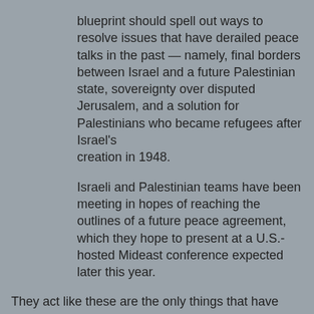blueprint should spell out ways to resolve issues that have derailed peace talks in the past — namely, final borders between Israel and a future Palestinian state, sovereignty over disputed Jerusalem, and a solution for Palestinians who became refugees after Israel's creation in 1948.
Israeli and Palestinian teams have been meeting in hopes of reaching the outlines of a future peace agreement, which they hope to present at a U.S.-hosted Mideast conference expected later this year.
They act like these are the only things that have 'derailed' the peace talks. There is no mention of the continued suicide attacks or rocket attacks initiated by Hamas and Fatah into Israel. And of course there won't be. It is not polite to point out that one side of this peace 'table' is not interested in peace of any kind except the final peace of the Jewish state.